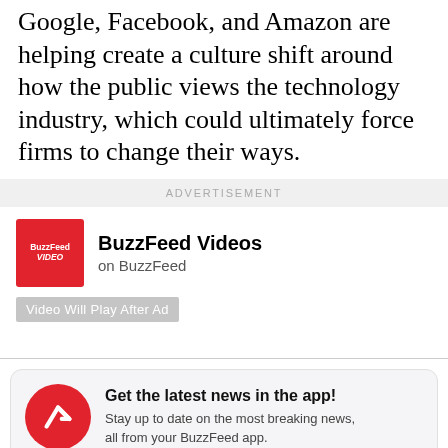Google, Facebook, and Amazon are helping create a culture shift around how the public views the technology industry, which could ultimately force firms to change their ways.
ADVERTISEMENT
[Figure (screenshot): BuzzFeed Videos advertisement unit with red logo showing BuzzFeed VIDEO text and 'BuzzFeed Videos on BuzzFeed' heading, with 'Video Will Play After Ad' badge]
[Figure (infographic): App promotion box with red circle BuzzFeed logo icon with white arrow, headline 'Get the latest news in the app!', subtext 'Stay up to date on the most breaking news, all from your BuzzFeed app.', with 'Maybe later' and 'Get the app' buttons]